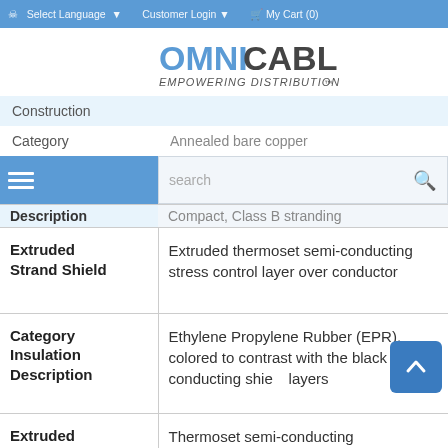Select Language   Customer Login   My Cart (0)
[Figure (logo): OmniCable logo — OMNI in blue, CABLE in dark gray, EMPOWERING DISTRIBUTION tagline below]
| Category | Value |
| --- | --- |
| Construction |  |
| Category | Annealed bare copper |
| Conductor Description | Compact, Class B stranding |
| Extruded Strand Shield | Extruded thermoset semi-conducting stress control layer over conductor |
| Category Insulation Description | Ethylene Propylene Rubber (EPR), colored to contrast with the black conducting shield layers |
| Extruded Insulation | Thermoset semi-conducting polymeric layer free stripping |